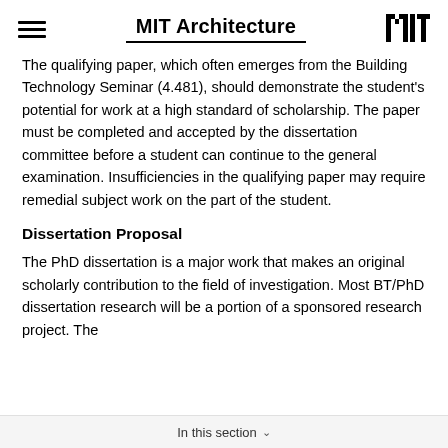MIT Architecture
The qualifying paper, which often emerges from the Building Technology Seminar (4.481), should demonstrate the student's potential for work at a high standard of scholarship. The paper must be completed and accepted by the dissertation committee before a student can continue to the general examination. Insufficiencies in the qualifying paper may require remedial subject work on the part of the student.
Dissertation Proposal
The PhD dissertation is a major work that makes an original scholarly contribution to the field of investigation. Most BT/PhD dissertation research will be a portion of a sponsored research project. The
In this section